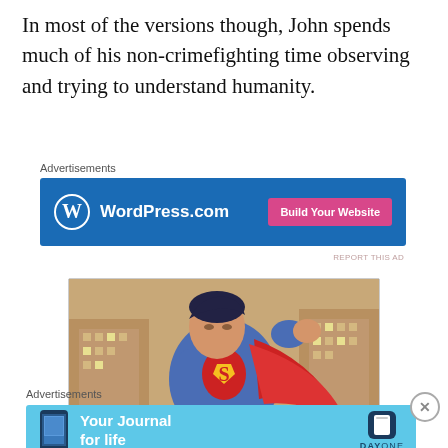In most of the versions though, John spends much of his non-crimefighting time observing and trying to understand humanity.
Advertisements
[Figure (screenshot): WordPress.com advertisement banner with blue background, WordPress logo on left and 'Build Your Website' pink button on right]
REPORT THIS AD
[Figure (illustration): Comic book illustration of Superman in blue suit with red cape flying over a city skyline]
[Figure (screenshot): Close button (X in circle) overlay on the comic image]
Advertisements
[Figure (screenshot): Day One app advertisement: 'Your Journal for life' on cyan/teal background with phone image and Day One logo]